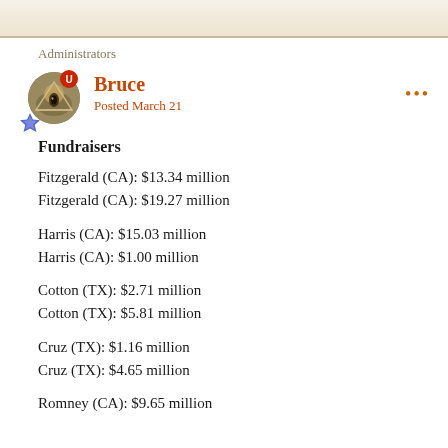Administrators
Bruce
Posted March 21
Fundraisers
Fitzgerald (CA): $13.34 million
Fitzgerald (CA): $19.27 million
Harris (CA): $15.03 million
Harris (CA): $1.00 million
Cotton (TX): $2.71 million
Cotton (TX): $5.81 million
Cruz (TX): $1.16 million
Cruz (TX): $4.65 million
Romney (CA): $9.65 million